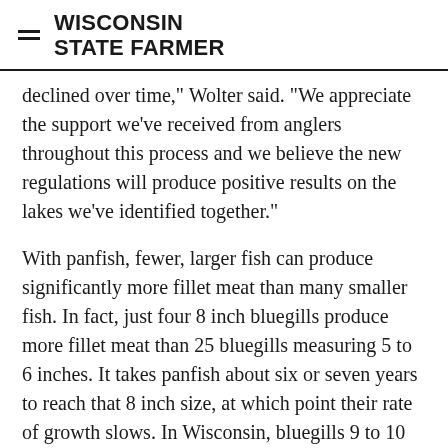WISCONSIN STATE FARMER
declined over time," Wolter said. "We appreciate the support we've received from anglers throughout this process and we believe the new regulations will produce positive results on the lakes we've identified together."
With panfish, fewer, larger fish can produce significantly more fillet meat than many smaller fish. In fact, just four 8 inch bluegills produce more fillet meat than 25 bluegills measuring 5 to 6 inches. It takes panfish about six or seven years to reach that 8 inch size, at which point their rate of growth slows. In Wisconsin, bluegills 9 to 10 inches (which are often male) can be as old as 14 to 16 years.